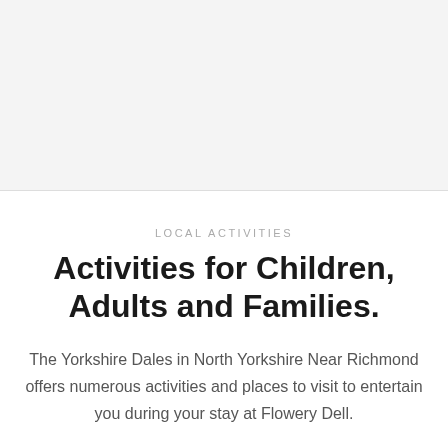[Figure (photo): Large light gray placeholder image area at the top of the page]
LOCAL ACTIVITIES
Activities for Children, Adults and Families.
The Yorkshire Dales in North Yorkshire Near Richmond offers numerous activities and places to visit to entertain you during your stay at Flowery Dell.